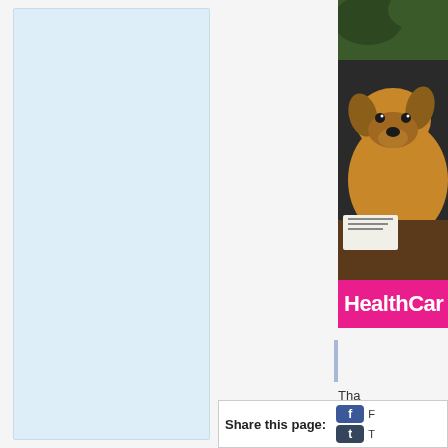[Figure (other): Light blue sidebar panel on the left side of the page]
[Figure (photo): Photo of a German Shepherd dog lying down, partially visible on the right side, with a pink HealthCar banner below it]
Tha
Share this page: